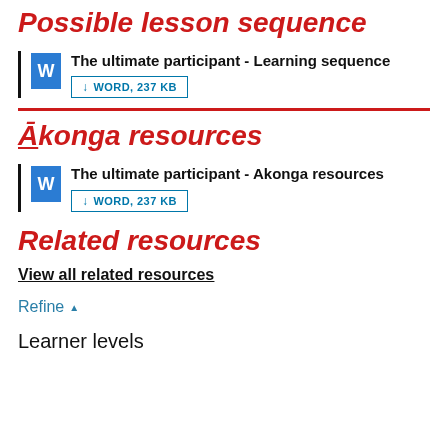Possible lesson sequence
The ultimate participant - Learning sequence
↓ WORD, 237 KB
Ākonga resources
The ultimate participant - Akonga resources
↓ WORD, 237 KB
Related resources
View all related resources
Refine ▲
Learner levels